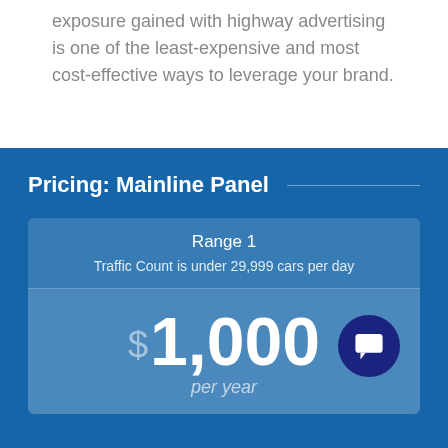exposure gained with highway advertising is one of the least-expensive and most cost-effective ways to leverage your brand.
Pricing: Mainline Panel
Range 1
Traffic Count is under 29,999 cars per day
$1,000 per year